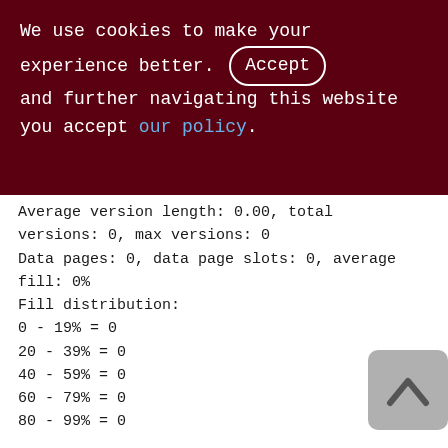We use cookies to make your experience better. By accepting and further navigating this website you accept our policy.
Average version length: 0.00, total versions: 0, max versions: 0
Data pages: 0, data page slots: 0, average fill: 0%
Fill distribution:
0 - 19% = 0
20 - 39% = 0
40 - 59% = 0
60 - 79% = 0
80 - 99% = 0

ZTMP_SHOPPING_CART (225)
Primary pointer page: 556, Index root page: